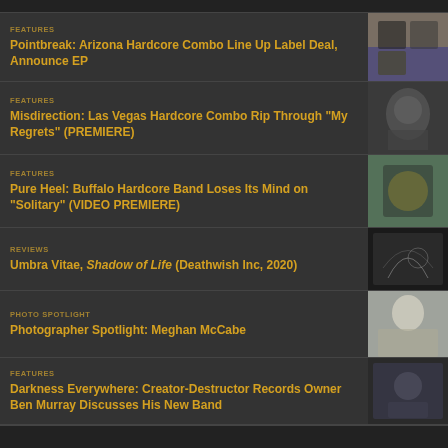FEATURES
Pointbreak: Arizona Hardcore Combo Line Up Label Deal, Announce EP
FEATURES
Misdirection: Las Vegas Hardcore Combo Rip Through "My Regrets" (PREMIERE)
FEATURES
Pure Heel: Buffalo Hardcore Band Loses Its Mind on "Solitary" (VIDEO PREMIERE)
REVIEWS
Umbra Vitae, Shadow of Life (Deathwish Inc, 2020)
PHOTO SPOTLIGHT
Photographer Spotlight: Meghan McCabe
FEATURES
Darkness Everywhere: Creator-Destructor Records Owner Ben Murray Discusses His New Band